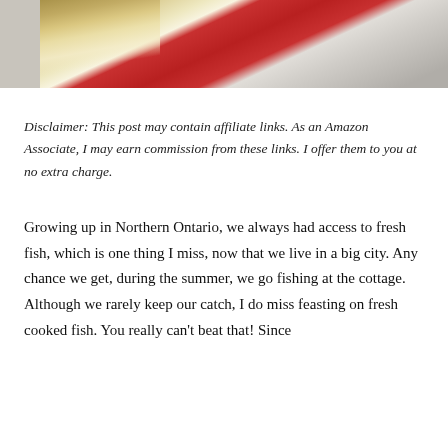[Figure (photo): Close-up photo of food (appears to be popcorn or a snack) near a red container/plate, partial view cropped at top of page]
Disclaimer: This post may contain affiliate links. As an Amazon Associate, I may earn commission from these links. I offer them to you at no extra charge.
Growing up in Northern Ontario, we always had access to fresh fish, which is one thing I miss, now that we live in a big city. Any chance we get, during the summer, we go fishing at the cottage. Although we rarely keep our catch, I do miss feasting on fresh cooked fish. You really can't beat that! Since